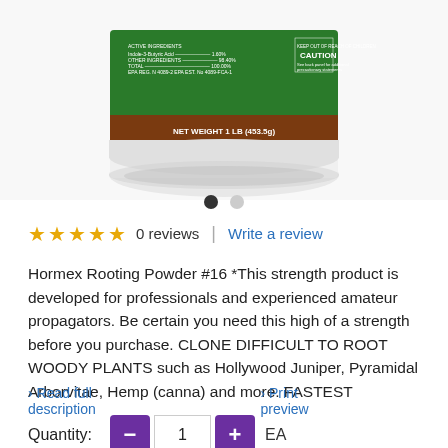[Figure (photo): Product image of Hormex Rooting Powder #16 in a white container with green and brown label, partially cropped at top]
0 reviews  |  Write a review
Hormex Rooting Powder #16 *This strength product is developed for professionals and experienced amateur propagators. Be certain you need this high of a strength before you purchase. CLONE DIFFICULT TO ROOT WOODY PLANTS such as Hollywood Juniper, Pyramidal Arborvitae, Hemp (canna) and more. FASTEST
› Read full description   › Print preview
Quantity:  -  1  +  EA